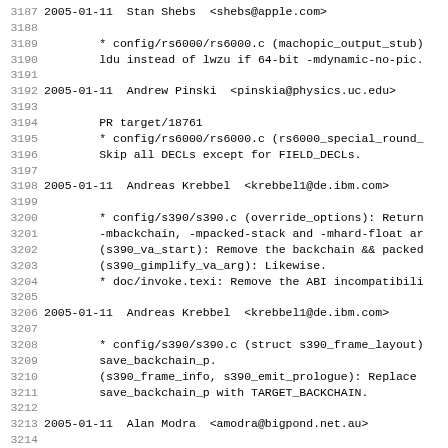3187 2005-01-11  Stan Shebs  <shebs@apple.com>
3188
3189         * config/rs6000/rs6000.c (machopic_output_stub)
3190         ldu instead of lwzu if 64-bit -mdynamic-no-pic.
3191
3192 2005-01-11  Andrew Pinski  <pinskia@physics.uc.edu>
3193
3194         PR target/18761
3195         * config/rs6000/rs6000.c (rs6000_special_round_
3196         Skip all DECLs except for FIELD_DECLs.
3197
3198 2005-01-11  Andreas Krebbel  <krebbel1@de.ibm.com>
3199
3200         * config/s390/s390.c (override_options): Return
3201         -mbackchain, -mpacked-stack and -mhard-float ar
3202         (s390_va_start): Remove the backchain && packed
3203         (s390_gimplify_va_arg): Likewise.
3204         * doc/invoke.texi: Remove the ABI incompatibili
3205
3206 2005-01-11  Andreas Krebbel  <krebbel1@de.ibm.com>
3207
3208         * config/s390/s390.c (struct s390_frame_layout)
3209         save_backchain_p.
3210         (s390_frame_info, s390_emit_prologue): Replace
3211         save_backchain_p with TARGET_BACKCHAIN.
3212
3213 2005-01-11  Alan Modra  <amodra@bigpond.net.au>
3214
3215         PR target/18916
3216         * builtins.c (std_gimplify_va_arg_expr): Adjust
3217         * expr.h (struct locate_and_pad_data): Add
3218         * function.c (locate_and_pad_parm): Set new fie